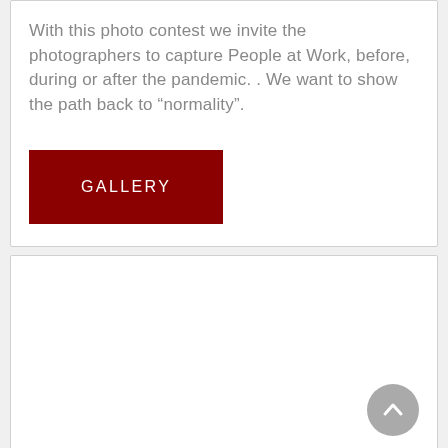With this photo contest we invite the photographers to capture People at Work, before, during or after the pandemic. . We want to show the path back to “normality”.
[Figure (other): Dark red rectangular button with the text GALLERY in white spaced capital letters]
[Figure (other): White card panel (empty content area) with a circular grey scroll-to-top arrow button in the bottom right corner]